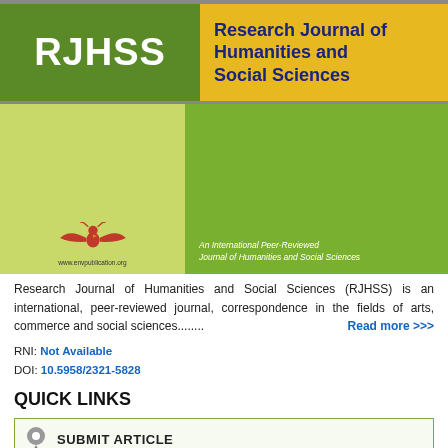[Figure (logo): RJHSS journal header logo with green background showing 'RJHSS' and yellow panel showing 'Research Journal of Humanities and Social Sciences']
[Figure (illustration): Journal cover image with light green and dark green panels, publisher logo/wings graphic and tagline 'An International Peer-Reviewed Journal of Humanities and Social Sciences']
Research Journal of Humanities and Social Sciences (RJHSS) is an international, peer-reviewed journal, correspondence in the fields of arts, commerce and social sciences........
Read more >>>
RNI: Not Available
DOI: 10.5958/2321-5828
QUICK LINKS
SUBMIT ARTICLE